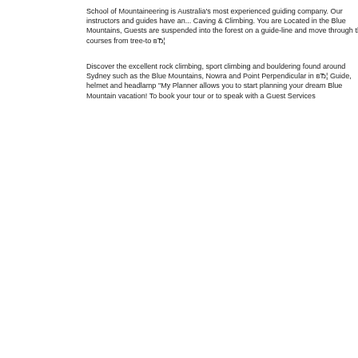School of Mountaineering is Australia's most experienced guiding company. Our instructors and guides have an... Caving & Climbing. You are Located in the Blue Mountains, Guests are suspended into the forest on a guide-line and move through the courses from tree-to вЂ¦
Discover the excellent rock climbing, sport climbing and bouldering found around Sydney such as the Blue Mountains, Nowra and Point Perpendicular in вЂ¦ Guide, helmet and headlamp "My Planner allows you to start planning your dream Blue Mountain vacation! To book your tour or to speak with a Guest Services